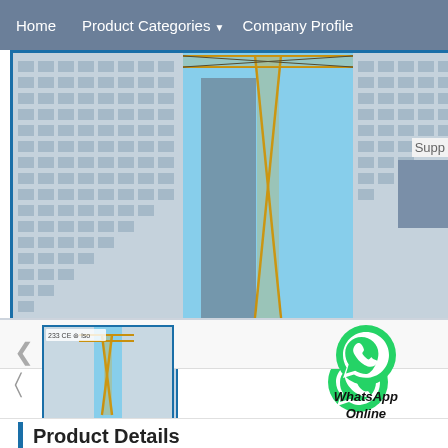Home   Product Categories ▼   Company Profile
[Figure (photo): Tower crane construction photo showing multi-story residential buildings under construction with a yellow tower crane in the center, against a blue sky background]
[Figure (photo): Thumbnail image of tower crane with certification logos (CE, ISO) at top left]
[Figure (logo): WhatsApp green circle logo with phone icon, labeled WhatsApp Online]
Product Details
| Field | Value | Field | Value |
| --- | --- | --- | --- |
| Feature: | Tower Crane | Condition: | New |
| Rated Loading Capacity: | 4t-25t | Rated Lifting Moment: | 400- |
| Max. Lifting Height: | 180 | Span: | 40-8 |